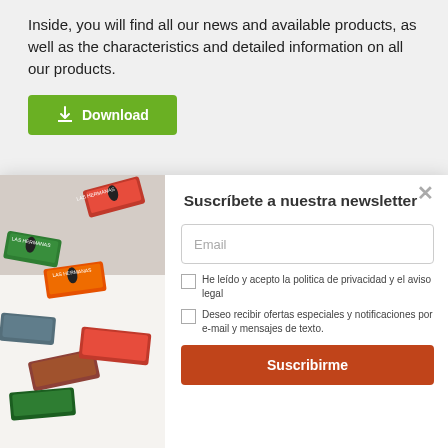Inside, you will find all our news and available products, as well as the characteristics and detailed information on all our products.
[Figure (illustration): Green download button with download icon and text 'Download']
[Figure (photo): Colorful collection of Las Hermanas chocolate boxes with decorative Japanese-style artwork scattered on white background]
Suscríbete a nuestra newsletter
Email
He leído y acepto la politica de privacidad y el aviso legal
Deseo recibir ofertas especiales y notificaciones por e-mail y mensajes de texto.
Suscribirme